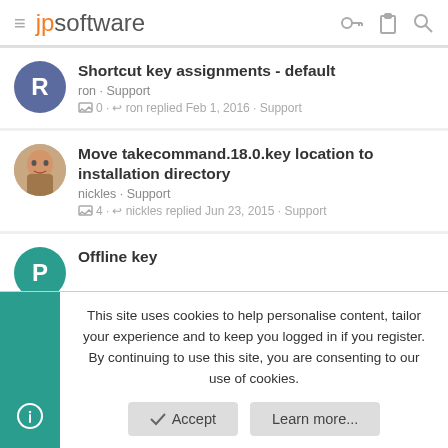[Figure (logo): JP Software logo with hamburger menu icon and navigation icons (key, clipboard, search)]
Shortcut key assignments - default
ron · Support
0 · ron replied Feb 1, 2016 · Support
Move takecommand.18.0.key location to installation directory
nickles · Support
4 · nickles replied Jun 23, 2015 · Support
Offline key
This site uses cookies to help personalise content, tailor your experience and to keep you logged in if you register.
By continuing to use this site, you are consenting to our use of cookies.